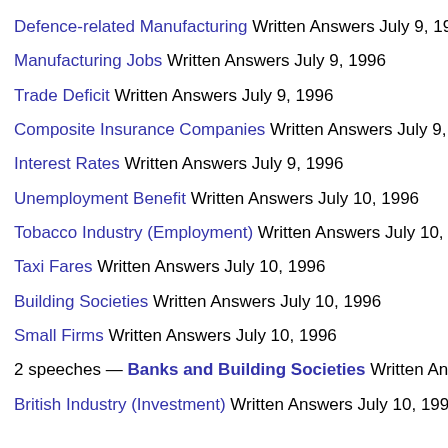Defence-related Manufacturing Written Answers July 9, 1996
Manufacturing Jobs Written Answers July 9, 1996
Trade Deficit Written Answers July 9, 1996
Composite Insurance Companies Written Answers July 9, 1996
Interest Rates Written Answers July 9, 1996
Unemployment Benefit Written Answers July 10, 1996
Tobacco Industry (Employment) Written Answers July 10, 1996
Taxi Fares Written Answers July 10, 1996
Building Societies Written Answers July 10, 1996
Small Firms Written Answers July 10, 1996
2 speeches — Banks and Building Societies Written Answers
British Industry (Investment) Written Answers July 10, 1996